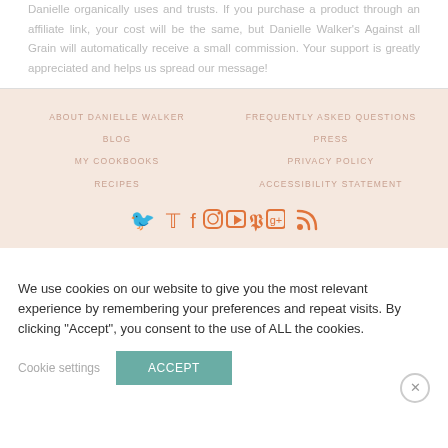Danielle organically uses and trusts. If you purchase a product through an affiliate link, your cost will be the same, but Danielle Walker's Against all Grain will automatically receive a small commission. Your support is greatly appreciated and helps us spread our message!
ABOUT DANIELLE WALKER | FREQUENTLY ASKED QUESTIONS | BLOG | PRESS | MY COOKBOOKS | PRIVACY POLICY | RECIPES | ACCESSIBILITY STATEMENT
[Figure (infographic): Social media icons: Twitter, Facebook, Instagram, YouTube, Pinterest, Google+, RSS feed — all in orange color]
We use cookies on our website to give you the most relevant experience by remembering your preferences and repeat visits. By clicking "Accept", you consent to the use of ALL the cookies.
Cookie settings | ACCEPT